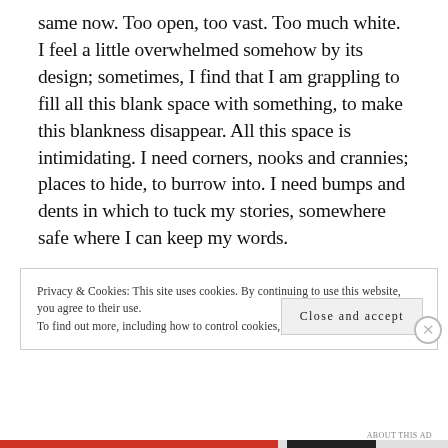same now. Too open, too vast. Too much white. I feel a little overwhelmed somehow by its design; sometimes, I find that I am grappling to fill all this blank space with something, to make this blankness disappear. All this space is intimidating. I need corners, nooks and crannies; places to hide, to burrow into. I need bumps and dents in which to tuck my stories, somewhere safe where I can keep my words.
Privacy & Cookies: This site uses cookies. By continuing to use this website, you agree to their use.
To find out more, including how to control cookies, see here: Cookie Policy
Close and accept